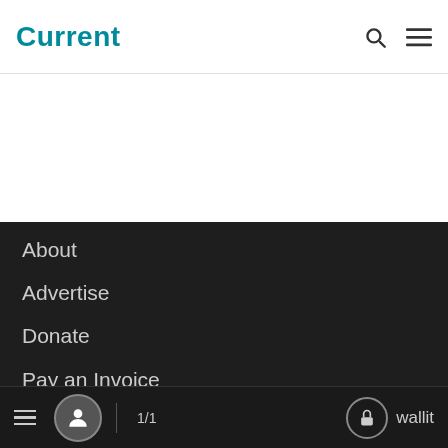Current
About
Advertise
Donate
Pay an Invoice
Subscribe
Write for Current
Editorial Policy
Contact
1/1  wallit